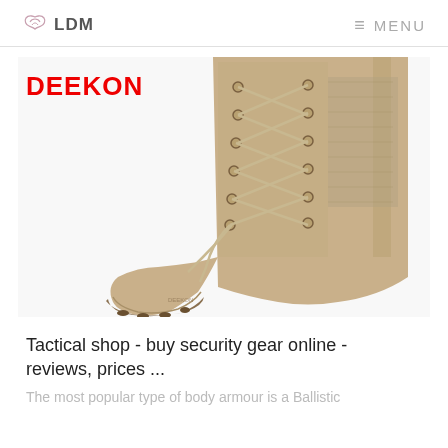LDM  MENU
[Figure (photo): Close-up photo of a tan/desert-colored military tactical boot with laces, showing the front lacing system and side zipper, with DEEKON brand label overlaid in red]
Tactical shop - buy security gear online - reviews, prices ...
The most popular type of body armour is a Ballistic